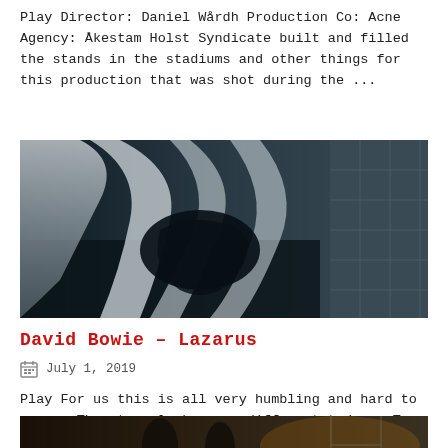Play Director: Daniel Wårdh Production Co: Acne Agency: Åkestam Holst Syndicate built and filled the stands in the stadiums and other things for this production that was shot during the ...
[Figure (photo): Dark cinematic still image showing a figure wrapped in flowing white fabric/sheets against a dark background with tiled walls visible on the right]
David Bowie – Lazarus
July 1, 2019
Play For us this is all very humbling and hard to grasp. The stars looks very different today.  Team list Director: Johan Renck Producer: Svana Gisla DoP: Crille Forsberg We ...
[Figure (photo): Dark cinematic still showing two figures in a dimly lit interior scene with warm amber tones]